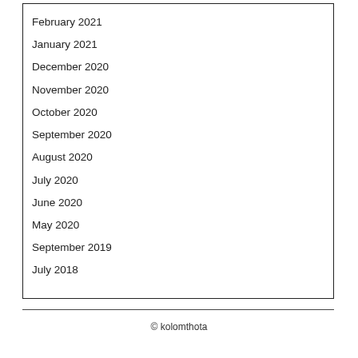February 2021
January 2021
December 2020
November 2020
October 2020
September 2020
August 2020
July 2020
June 2020
May 2020
September 2019
July 2018
© kolomthota